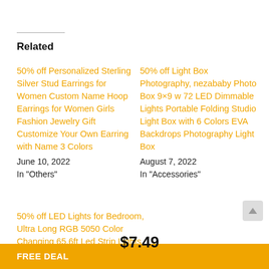Related
50% off Personalized Sterling Silver Stud Earrings for Women Custom Name Hoop Earrings for Women Girls Fashion Jewelry Gift Customize Your Own Earring with Name 3 Colors
June 10, 2022
In "Others"
50% off Light Box Photography, nezababy Photo Box 9×9 w 72 LED Dimmable Lights Portable Folding Studio Light Box with 6 Colors EVA Backdrops Photography Light Box
August 7, 2022
In "Accessories"
50% off LED Lights for Bedroom, Ultra Long RGB 5050 Color Changing 65.6ft Led Strip Lights for Desk Home Decoration Garage Party Festival with
$7.49
FREE DEAL